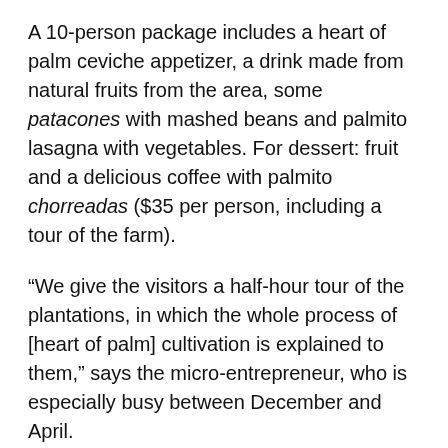A 10-person package includes a heart of palm ceviche appetizer, a drink made from natural fruits from the area, some patacones with mashed beans and palmito lasagna with vegetables. For dessert: fruit and a delicious coffee with palmito chorreadas ($35 per person, including a tour of the farm).
“We give the visitors a half-hour tour of the plantations, in which the whole process of [heart of palm] cultivation is explained to them,” says the micro-entrepreneur, who is especially busy between December and April.
One of her goals is to build cabins for travelers to stay in. They’ve already expanded the space where customers dine, served by María Luz with the help of one of her daughters, who studied tourism, and a neighbor who helps out on high-traffic